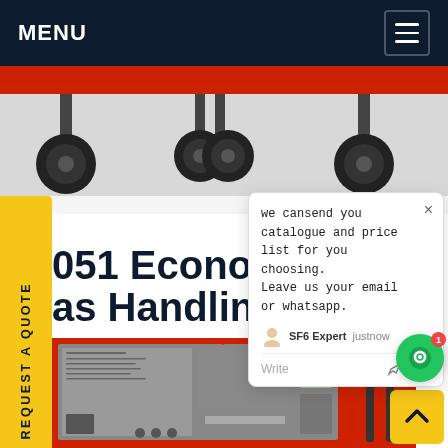MENU
[Figure (photo): Bottom of industrial equipment showing wheels/casters on red metal frame]
REQUEST A QUOTE
051 Economy Series Gas Handling Cart
we cansend you catalogue and price list for you choosing. Leave us your email or whatsapp.
SF6 Expert   justnow
Write
[Figure (photo): Red industrial SF6 gas handling cart/unit with control panels and gauges]